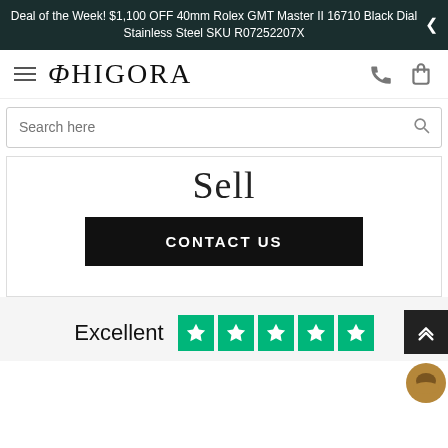Deal of the Week! $1,100 OFF 40mm Rolex GMT Master II 16710 Black Dial Stainless Steel SKU R07252207X
[Figure (logo): Phigora brand logo with hamburger menu icon on left and phone/bag icons on right]
Search here
Sell
CONTACT US
Excellent
[Figure (other): Trustpilot 5 green star rating boxes]